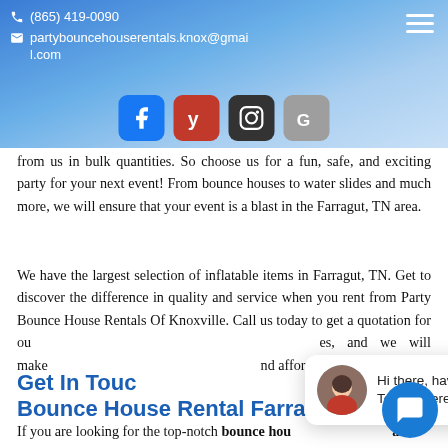(865) 419-0090 partybouncehourentals.knox@gmail.com
[Figure (infographic): Social media icons row: Facebook (blue), Yelp (red), Instagram (dark), Google (grey)]
from us in bulk quantities. So choose us for a fun, safe, and exciting party for your next event! From bounce houses to water slides and much more, we will ensure that your event is a blast in the Farragut, TN area.
We have the largest selection of inflatable items in Farragut, TN. Get to discover the difference in quality and service when you rent from Party Bounce House Rentals Of Knoxville. Call us today to get a quotation for our services, and we will make sure to provide you with the lowest and affordable rates ever.
Get In Touch With Party Bounce House Rental Farragut, TN
If you are looking for the top-notch bounce house rental Farragut, TN, then worry not since you have come to the
[Figure (other): Chat popup overlay with female avatar and text: Hi there, have a question? Text us here. With close button.]